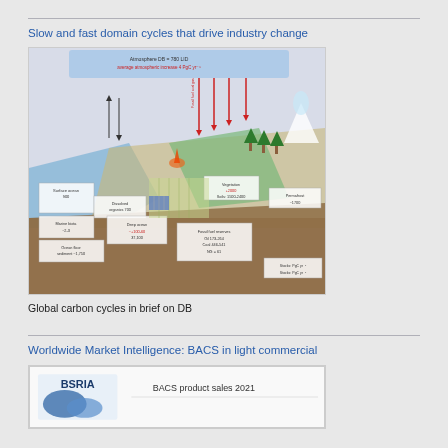Slow and fast domain cycles that drive industry change
[Figure (infographic): Global carbon cycle diagram showing atmosphere, land, ocean, and soil carbon pools and fluxes with labeled arrows and annotations in red and black text]
Global carbon cycles in brief on DB
Worldwide Market Intelligence: BACS in light commercial
[Figure (infographic): BSRIA logo and BACS product sales 2021 heading for a market intelligence report on building automation and control systems in light commercial sector]